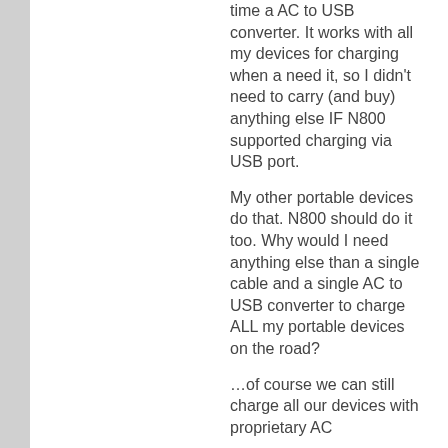time a AC to USB converter. It works with all my devices for charging when a need it, so I didn't need to carry (and buy) anything else IF N800 supported charging via USB port.
My other portable devices do that. N800 should do it too. Why would I need anything else than a single cable and a single AC to USB converter to charge ALL my portable devices on the road?
…of course we can still charge all our devices with proprietary AC